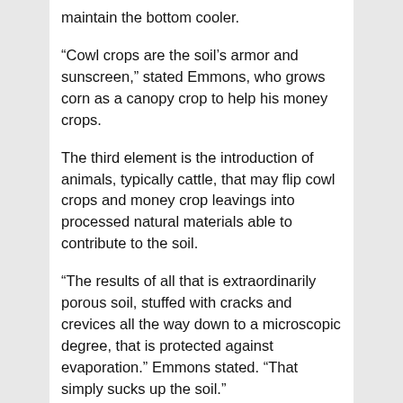maintain the bottom cooler.
“Cowl crops are the soil’s armor and sunscreen,” stated Emmons, who grows corn as a canopy crop to help his money crops.
The third element is the introduction of animals, typically cattle, that may flip cowl crops and money crop leavings into processed natural materials able to contribute to the soil.
“The results of all that is extraordinarily porous soil, stuffed with cracks and crevices all the way down to a microscopic degree, that is protected against evaporation.” Emmons stated. “That simply sucks up the soil.”
Emmons famous that with 2% natural matter in soil, farmers seize simply 20% of a reasonable to heavy rainfall. “Which means 80% simply runs off, most likely taking topsoil with it.”